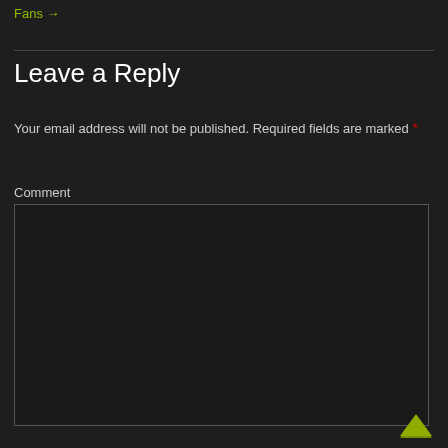Fans →
Leave a Reply
Your email address will not be published. Required fields are marked *
Comment
[Figure (other): Comment text area input box, dark background with border]
[Figure (other): Scroll to top arrow icon, olive/green color chevron up]